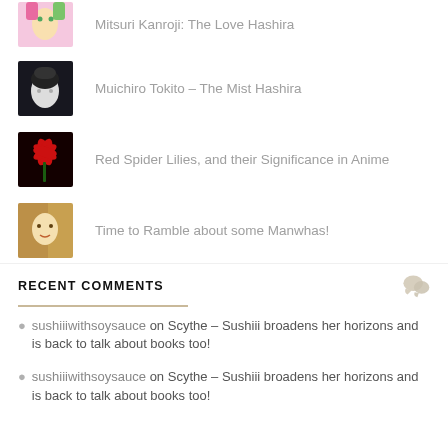Mitsuri Kanroji: The Love Hashira
Muichiro Tokito – The Mist Hashira
Red Spider Lilies, and their Significance in Anime
Time to Ramble about some Manwhas!
RECENT COMMENTS
sushiiiwithsoysauce on Scythe – Sushiii broadens her horizons and is back to talk about books too!
sushiiiwithsoysauce on Scythe – Sushiii broadens her horizons and is back to talk about books too!